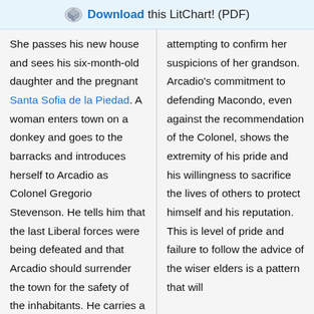Download this LitChart! (PDF)
She passes his new house and sees his six-month-old daughter and the pregnant Santa Sofia de la Piedad. A woman enters town on a donkey and goes to the barracks and introduces herself to Arcadio as Colonel Gregorio Stevenson. He tells him that the last Liberal forces were being defeated and that Arcadio should surrender the town for the safety of the inhabitants. He carries a
attempting to confirm her suspicions of her grandson. Arcadio's commitment to defending Macondo, even against the recommendation of the Colonel, shows the extremity of his pride and his willingness to sacrifice the lives of others to protect himself and his reputation. This is level of pride and failure to follow the advice of the wiser elders is a pattern that will